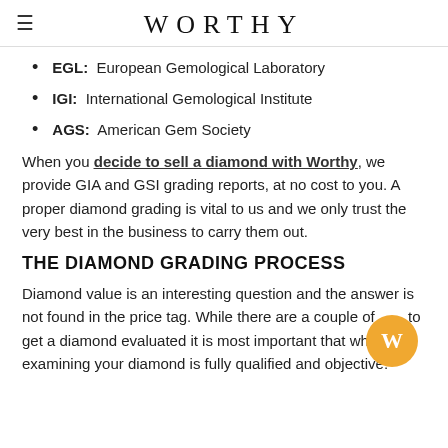WORTHY
EGL: European Gemological Laboratory
IGI: International Gemological Institute
AGS: American Gem Society
When you decide to sell a diamond with Worthy, we provide GIA and GSI grading reports, at no cost to you. A proper diamond grading is vital to us and we only trust the very best in the business to carry them out.
THE DIAMOND GRADING PROCESS
Diamond value is an interesting question and the answer is not found in the price tag. While there are a couple of to get a diamond evaluated it is most important that who examining your diamond is fully qualified and objective.